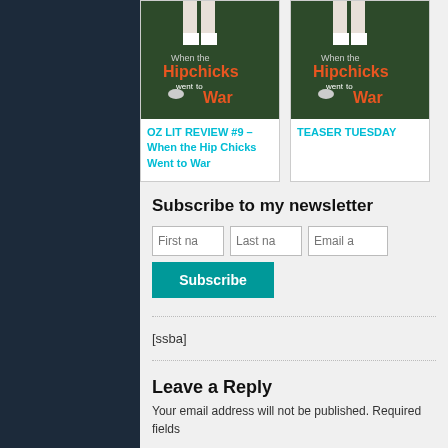[Figure (illustration): Book cover for 'When the Hipchicks Went to War' shown in a card layout - OZ LIT REVIEW #9]
OZ LIT REVIEW #9 – When the Hip Chicks Went to War
[Figure (illustration): Book cover for 'When the Hipchicks Went to War' shown in a card layout - TEASER TUESDAY]
TEASER TUESDAY
Subscribe to my newsletter
[ssba]
Leave a Reply
Your email address will not be published. Required fields